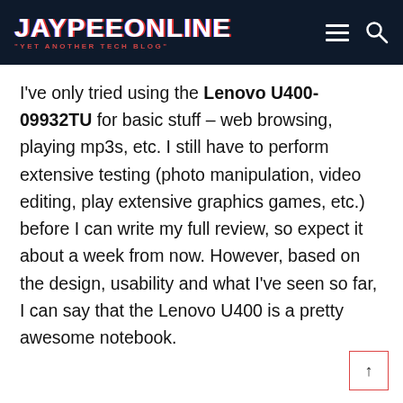JAYPEEONLINE "YET ANOTHER TECH BLOG"
I've only tried using the Lenovo U400-09932TU for basic stuff – web browsing, playing mp3s, etc. I still have to perform extensive testing (photo manipulation, video editing, play extensive graphics games, etc.) before I can write my full review, so expect it about a week from now. However, based on the design, usability and what I've seen so far, I can say that the Lenovo U400 is a pretty awesome notebook.